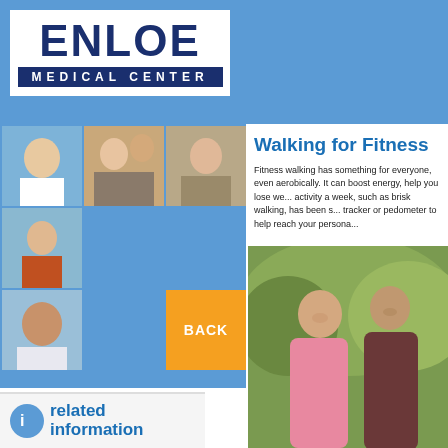[Figure (logo): Enloe Medical Center logo — white box with dark blue ENLOE text and dark blue bar reading MEDICAL CENTER]
[Figure (photo): Grid of photos including a doctor with patient, a woman in scarf, and a smiling child, set against blue and orange background panels with a BACK button]
Walking for Fitness
Fitness walking has something for everyone, even aerobically. It can boost energy, help you lose we... activity a week, such as brisk walking, has been s... tracker or pedometer to help reach your persona...
[Figure (photo): Older couple walking outdoors in fall foliage, woman in pink hoodie, man in dark jacket and red shirt]
[Figure (other): Related information section with blue icon and 'related' text]